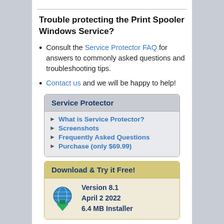Trouble protecting the Print Spooler Windows Service?
Consult the Service Protector FAQ for answers to commonly asked questions and troubleshooting tips.
Contact us and we will be happy to help!
Service Protector
What is Service Protector?
Screenshots
Frequently Asked Questions
Purchase (only $69.99)
Download & Try it Free!
Version 8.1
April 2 2022
6.4 MB Installer